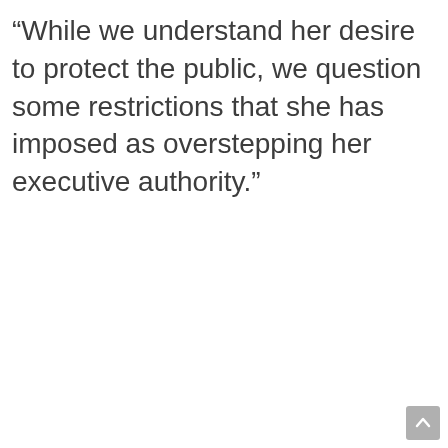“While we understand her desire to protect the public, we question some restrictions that she has imposed as overstepping her executive authority.”